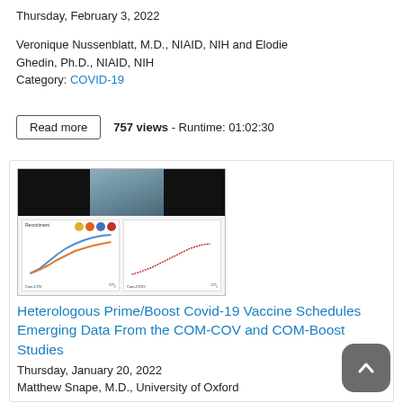Thursday, February 3, 2022
Veronique Nussenblatt, M.D., NIAID, NIH and Elodie Ghedin, Ph.D., NIAID, NIH
Category: COVID-19
757 views - Runtime: 01:02:30
[Figure (screenshot): Video thumbnail showing a presenter with recruitment charts for COM-COV and COM-COV2 studies with orange and blue line graphs]
Heterologous Prime/Boost Covid-19 Vaccine Schedules Emerging Data From the COM-COV and COM-Boost Studies
Thursday, January 20, 2022
Matthew Snape, M.D., University of Oxford